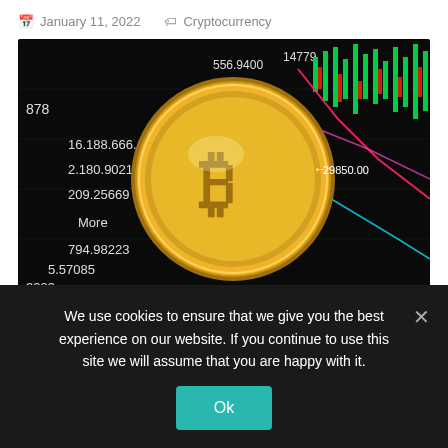January 11, 2022  Cryptocurrency
[Figure (photo): A gold Bitcoin coin placed on top of a dark trading screen showing candlestick charts in red and green, with price numbers visible in white text on the display.]
Cryptocurrency has become so popular these days and every new investor is looking forward to
We use cookies to ensure that we give you the best experience on our website. If you continue to use this site we will assume that you are happy with it.